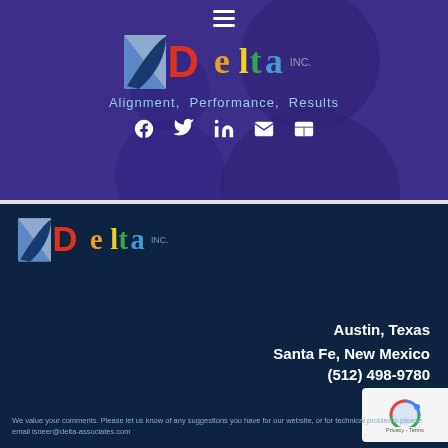[Figure (screenshot): Delta Inc. company website header with purple background, silhouette figure, Delta Inc. logo, tagline 'Alignment, Performance, Results', and social media icons]
Alignment, Performance, Results
[Figure (logo): Delta Inc. logo in dark navy section]
Austin, Texas
Santa Fe, New Mexico
(512) 498-9780
We value your comments. Please let us know of any suggestions you have for our website, or for technical problems please email isneer@delta-associates.com